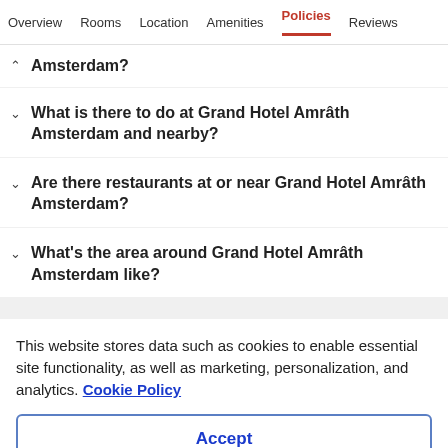Overview  Rooms  Location  Amenities  Policies  Reviews
Amsterdam?
What is there to do at Grand Hotel Amrâth Amsterdam and nearby?
Are there restaurants at or near Grand Hotel Amrâth Amsterdam?
What's the area around Grand Hotel Amrâth Amsterdam like?
This website stores data such as cookies to enable essential site functionality, as well as marketing, personalization, and analytics. Cookie Policy
Accept
Deny